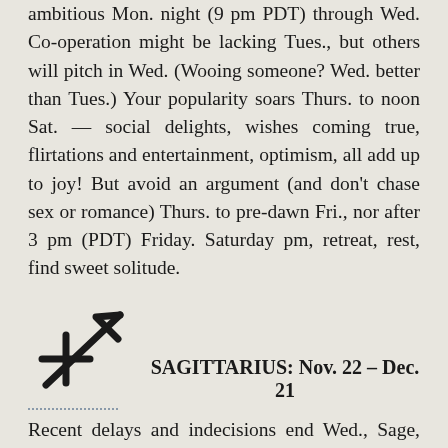ambitious Mon. night (9 pm PDT) through Wed. Co-operation might be lacking Tues., but others will pitch in Wed. (Wooing someone? Wed. better than Tues.) Your popularity soars Thurs. to noon Sat. — social delights, wishes coming true, flirtations and entertainment, optimism, all add up to joy! But avoid an argument (and don't chase sex or romance) Thurs. to pre-dawn Fri., nor after 3 pm (PDT) Friday. Saturday pm, retreat, rest, find sweet solitude.
[Figure (illustration): Sagittarius zodiac symbol (archer arrow with cross)]
SAGITTARIUS: Nov. 22 – Dec. 21
Recent delays and indecisions end Wed., Sage, especially in romantic, creative and speculative pursuits. The general accent, until May 20, lies on work and daily health. Eat, dress sensibly. You'll get